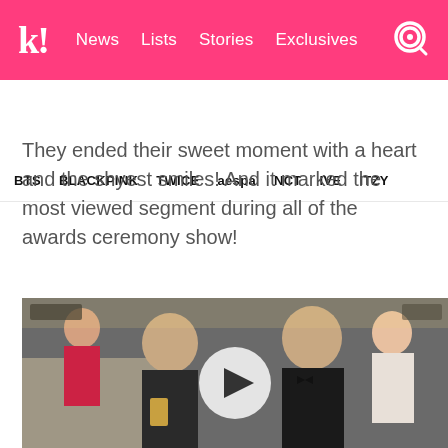k! News Lists Stories Exclusives
BTS BLACKPINK TWICE aespa NCT IVE ITZY
They ended their sweet moment with a heart and the shyest smiles! And it marked the most viewed segment during all of the awards ceremony show!
[Figure (photo): Video thumbnail showing two people at an awards ceremony, a woman with her hair up wearing a necklace and a man in a tuxedo with bow tie, with a play button overlay in the center]